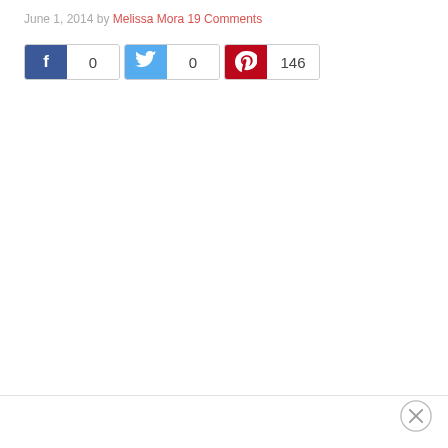June 1, 2014 by Melissa Mora 19 Comments
[Figure (infographic): Social share buttons: Facebook with count 0, Twitter with count 0, Pinterest with count 146]